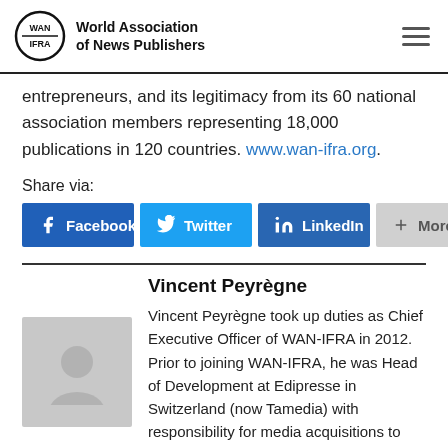World Association of News Publishers
entrepreneurs, and its legitimacy from its 60 national association members representing 18,000 publications in 120 countries. www.wan-ifra.org.
Share via:
Facebook  Twitter  LinkedIn  More
Vincent Peyrègne
Vincent Peyrègne took up duties as Chief Executive Officer of WAN-IFRA in 2012. Prior to joining WAN-IFRA, he was Head of Development at Edipresse in Switzerland (now Tamedia) with responsibility for media acquisitions...
[Figure (photo): Author headshot placeholder (grey silhouette)]